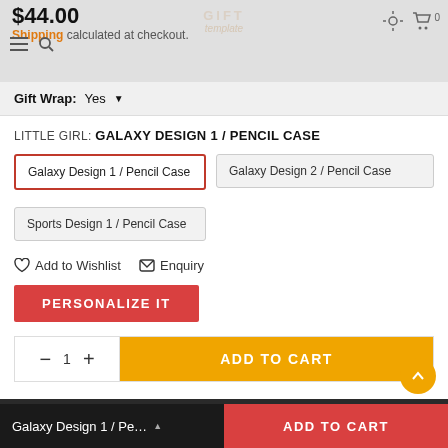$44.00 Shipping calculated at checkout.
Gift Wrap: Yes
LITTLE GIRL: GALAXY DESIGN 1 / PENCIL CASE
Galaxy Design 1 / Pencil Case (selected)
Galaxy Design 2 / Pencil Case
Sports Design 1 / Pencil Case
Add to Wishlist   Enquiry
PERSONALIZE IT
− 1 +   ADD TO CART
Flat rate $12 shipping
Galaxy Design 1 / Pe…  ▲   ADD TO CART